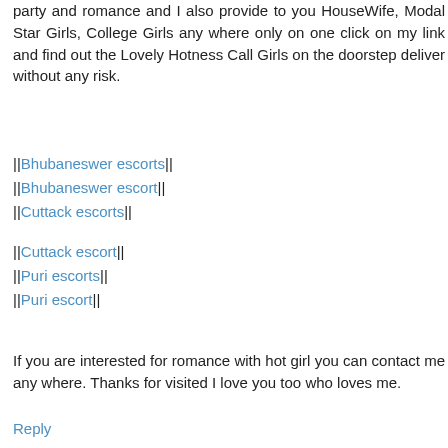party and romance and I also provide to you HouseWife, Modal Star Girls, College Girls any where only on one click on my link and find out the Lovely Hotness Call Girls on the doorstep deliver without any risk.
||Bhubaneswer escorts||
||Bhubaneswer escort||
||Cuttack escorts||
||Cuttack escort||
||Puri escorts||
||Puri escort||
If you are interested for romance with hot girl you can contact me any where. Thanks for visited I love you too who loves me.
Reply